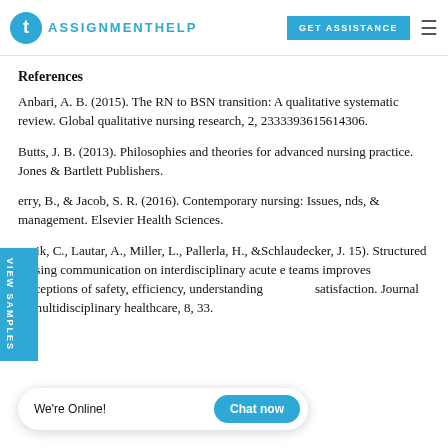t AssignmentHelp | GET ASSISTANCE
References
Anbari, A. B. (2015). The RN to BSN transition: A qualitative systematic review. Global qualitative nursing research, 2, 2333393615614306.
Butts, J. B. (2013). Philosophies and theories for advanced nursing practice. Jones & Bartlett Publishers.
erry, B., & Jacob, S. R. (2016). Contemporary nursing: Issues, nds, & management. Elsevier Health Sciences.
usvik, C., Lautar, A., Miller, L., Pallerla, H., &Schlaudecker, J. 15). Structured nursing communication on interdisciplinary acute e teams improves perceptions of safety, efficiency, understanding satisfaction. Journal of multidisciplinary healthcare, 8, 33.